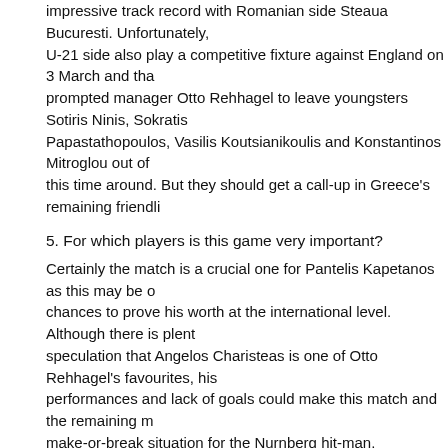impressive track record with Romanian side Steaua Bucuresti. Unfortunately, U-21 side also play a competitive fixture against England on 3 March and that prompted manager Otto Rehhagel to leave youngsters Sotiris Ninis, Sokratis Papastathopoulos, Vasilis Koutsianikoulis and Konstantinos Mitroglou out of this time around. But they should get a call-up in Greece's remaining friendlie
5. For which players is this game very important?
Certainly the match is a crucial one for Pantelis Kapetanos as this may be one of his last chances to prove his worth at the international level. Although there is plenty of speculation that Angelos Charisteas is one of Otto Rehhagel's favourites, his recent performances and lack of goals could make this match and the remaining matches a make-or-break situation for the Nurnberg hit-man.
While Avraam Papadopoulos is guaranteed a spot in the final Greece roster for South Africa, his performance in the heart of the Greek defense could determine if he at the final tournament will be in a starting position or not. Furthermore, whoever features as goalkeeper for Greece will need to make his mark, as the starting job remains up for grabs.
6. What issues in the team need to be addressed?
The Greeks will need to replicate the same level of organisation that shocked Europe in 2004, particularly since the Greek attack struggled through the qualifiers bar Theofanis Gekas' ten-goal campaign. Nevertheless, team chemistry will be the underlying factor that would boost both the defense and the attack should it be enhanced.
7. What will be the result?
I believe Greece have the talent to win the match, but the encounter will be a